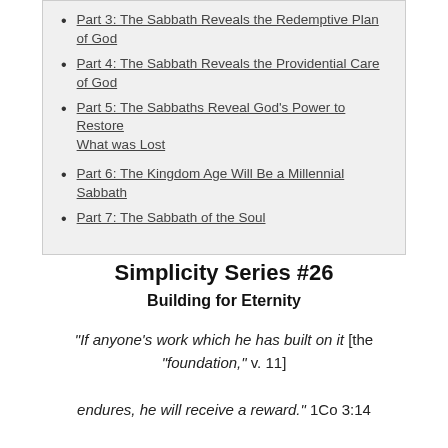Part 3: The Sabbath Reveals the Redemptive Plan of God
Part 4: The Sabbath Reveals the Providential Care of God
Part 5: The Sabbaths Reveal God's Power to Restore What was Lost
Part 6: The Kingdom Age Will Be a Millennial Sabbath
Part 7: The Sabbath of the Soul
Simplicity Series #26
Building for Eternity
“If anyone’s work which he has built on it [the “foundation,” v. 11] endures, he will receive a reward.” 1Co 3:14